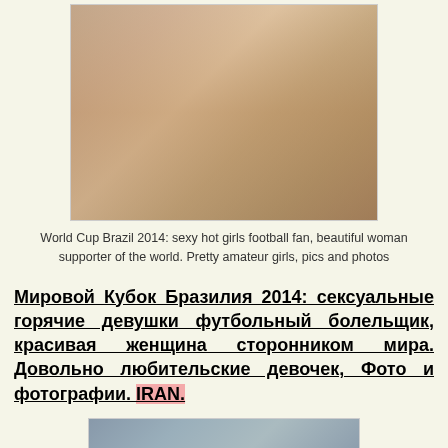[Figure (photo): Photo of women in England football supporter attire with red and white colors]
World Cup Brazil 2014: sexy hot girls football fan, beautiful woman supporter of the world. Pretty amateur girls, pics and photos
Мировой Кубок Бразилия 2014: сексуальные горячие девушки футбольный болельщик, красивая женщина сторонником мира. Довольно любительские девочек, Фото и фотографии. IRAN.
[Figure (photo): Partially visible photo at bottom of page]